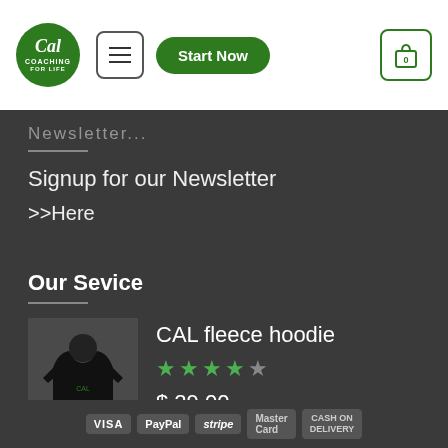[Figure (logo): Cal Coaching life circular green logo]
Start Now
Signup for our Newsletter
>>Here
Our Sevice
CAL fleece hoodie
$ 29.00
[Figure (photo): Man wearing a black CAL fleece hoodie]
VISA  PayPal  stripe  MasterCard  CASH ON DELIVERY